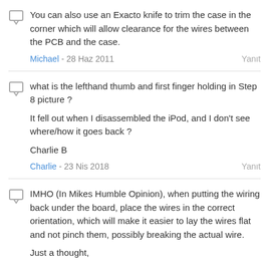You can also use an Exacto knife to trim the case in the corner which will allow clearance for the wires between the PCB and the case.
Michael - 28 Haz 2011   Yanıt
what is the lefthand thumb and first finger holding in Step 8 picture ?

It fell out when I disassembled the iPod, and I don't see where/how it goes back ?

Charlie B
Charlie - 23 Nis 2018   Yanıt
IMHO (In Mikes Humble Opinion), when putting the wiring back under the board, place the wires in the correct orientation, which will make it easier to lay the wires flat and not pinch them, possibly breaking the actual wire.

Just a thought,